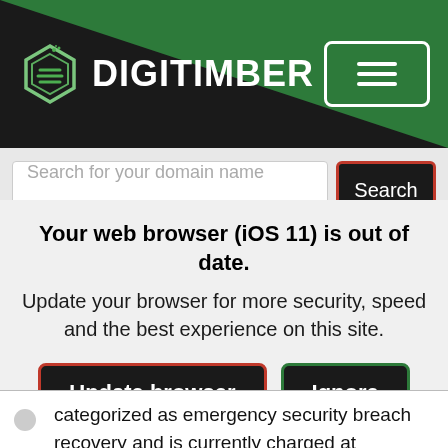DigiTimber
Search for your domain name
Your web browser (iOS 11) is out of date. Update your browser for more security, speed and the best experience on this site.
Update browser   Ignore
categorized as emergency security breach recovery and is currently charged at $300.00 USD per hour required. Network interference by any Customers that may cause or is currently causing network interference with another Customer will be disconnected immediately. No